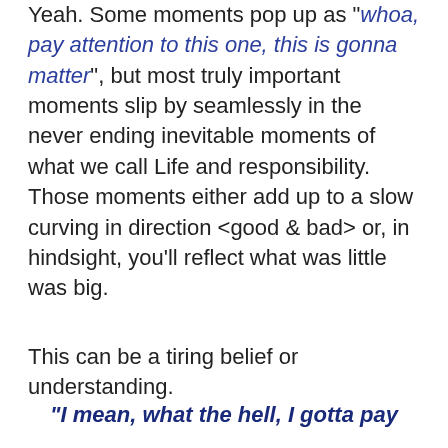Yeah. Some moments pop up as "whoa, pay attention to this one, this is gonna matter", but most truly important moments slip by seamlessly in the never ending inevitable moments of what we call Life and responsibility. Those moments either add up to a slow curving in direction <good & bad> or, in hindsight, you'll reflect what was little was big.
This can be a tiring belief or understanding.
"I mean, what the hell, I gotta pay attention EVERY moment OR WHAT?"